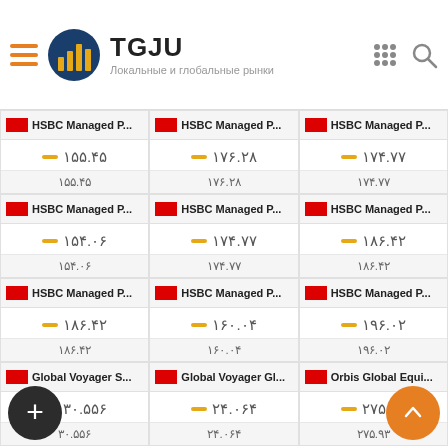TGJU — Локальные и глобальные рынки
| Col1 | Col2 | Col3 |
| --- | --- | --- |
| HSBC Managed P… | HSBC Managed P… | HSBC Managed P… |
| ۱۵۵.۴۵ | ۱۷۶.۲۸ | ۱۷۴.۷۷ |
| ۱۵۵.۴۵ | ۱۷۶.۲۸ | ۱۷۴.۷۷ |
| HSBC Managed P… | HSBC Managed P… | HSBC Managed P… |
| ۱۵۴.۰۶ | ۱۷۴.۷۷ | ۱۸۶.۴۲ |
| ۱۵۴.۰۶ | ۱۷۴.۷۷ | ۱۸۶.۴۲ |
| HSBC Managed P… | HSBC Managed P… | HSBC Managed P… |
| ۱۸۶.۴۲ | ۱۶۰.۰۴ | ۱۹۶.۰۲ |
| ۱۸۶.۴۲ | ۱۶۰.۰۴ | ۱۹۶.۰۲ |
| Global Voyager S… | Global Voyager Gl… | Orbis Global Equi… |
| ۳۰.۵۵۶ | ۲۴.۰۶۴ | ۲۷۵.۹۳ |
| ۳۰.۵۵۶ | ۲۴.۰۶۴ | ۲۷۵.۹۳ |